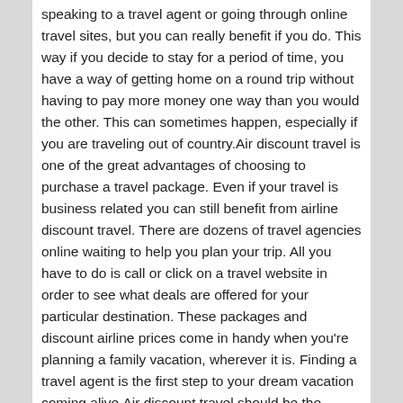speaking to a travel agent or going through online travel sites, but you can really benefit if you do. This way if you decide to stay for a period of time, you have a way of getting home on a round trip without having to pay more money one way than you would the other. This can sometimes happen, especially if you are traveling out of country.Air discount travel is one of the great advantages of choosing to purchase a travel package. Even if your travel is business related you can still benefit from airline discount travel. There are dozens of travel agencies online waiting to help you plan your trip. All you have to do is call or click on a travel website in order to see what deals are offered for your particular destination. These packages and discount airline prices come in handy when you're planning a family vacation, wherever it is. Finding a travel agent is the first step to your dream vacation coming alive.Air discount travel should be the choice that everyone makes when taking a vacating. These airline discount travel tickets make all the difference when you're going across country. Whether you are traveling for business purposes or as a family going on vacation,